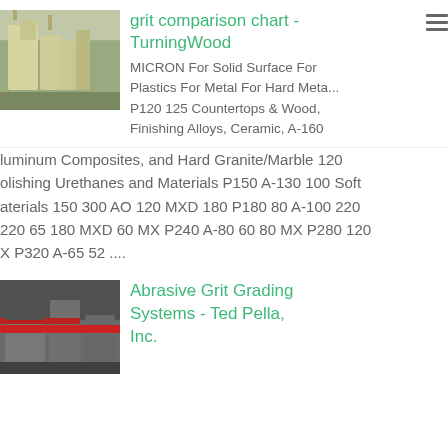[Figure (photo): Industrial dust collection or filtration equipment in a warehouse/factory setting, yellow/green machinery with ducting]
grit comparison chart - TurningWood
MICRON For Solid Surface For Plastics For Metal For Hard Meta... P120 125 Countertops & Wood, Finishing Alloys, Ceramic, A-160 luminum Composites, and Hard Granite/Marble 120 olishing Urethanes and Materials P150 A-130 100 Soft aterials 150 300 AO 120 MXD 180 P180 80 A-100 220 220 65 180 MXD 60 MX P240 A-80 60 80 MX P280 120 X P320 A-65 52 ....
[Figure (photo): Industrial machinery or equipment in a facility, with red piping/ducting visible]
Abrasive Grit Grading Systems - Ted Pella, Inc.